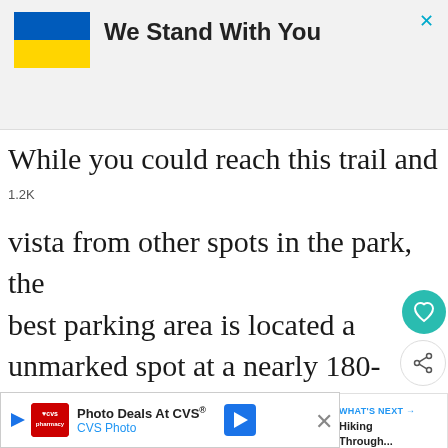[Figure (illustration): Advertisement banner: Ukraine flag (blue and yellow) with text 'We Stand With You' in bold, and a teal close X button in top right]
While you could reach this trail and vista from other spots in the park, the best parking area is located at an unmarked spot at a nearly 180-degree be...
[Figure (other): CVS Photo advertisement at bottom: 'Photo Deals At CVS® CVS Photo' with CVS pharmacy logo, play button, navigation icon, and close X button]